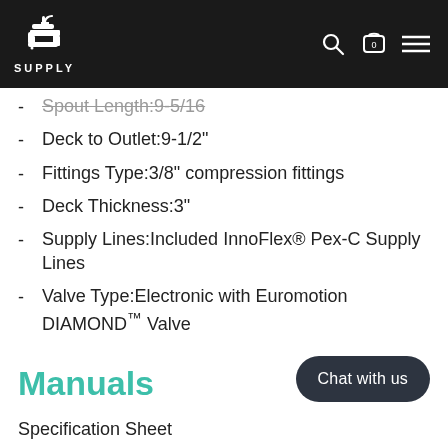SUPPLY
Spout Length:9-5/16
Deck to Outlet:9-1/2"
Fittings Type:3/8" compression fittings
Deck Thickness:3"
Supply Lines:Included InnoFlex® Pex-C Supply Lines
Valve Type:Electronic with Euromotion DIAMOND™ Valve
Manuals
Specification Sheet